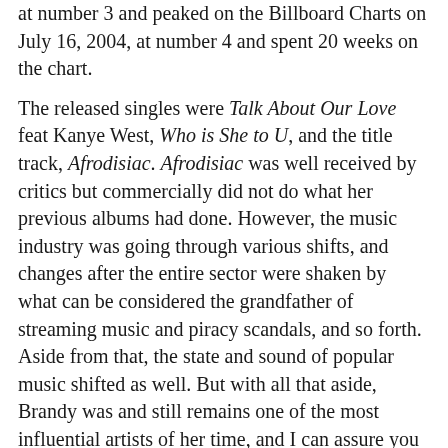at number 3 and peaked on the Billboard Charts on July 16, 2004, at number 4 and spent 20 weeks on the chart.
The released singles were Talk About Our Love feat Kanye West, Who is She to U, and the title track, Afrodisiac. Afrodisiac was well received by critics but commercially did not do what her previous albums had done. However, the music industry was going through various shifts, and changes after the entire sector were shaken by what can be considered the grandfather of streaming music and piracy scandals, and so forth. Aside from that, the state and sound of popular music shifted as well. But with all that aside, Brandy was and still remains one of the most influential artists of her time, and I can assure you it will be beyond.